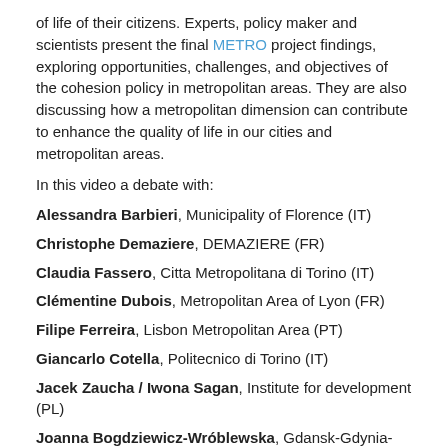of life of their citizens. Experts, policy maker and scientists present the final METRO project findings, exploring opportunities, challenges, and objectives of the cohesion policy in metropolitan areas. They are also discussing how a metropolitan dimension can contribute to enhance the quality of life in our cities and metropolitan areas.
In this video a debate with:
Alessandra Barbieri, Municipality of Florence (IT)
Christophe Demaziere, DEMAZIERE (FR)
Claudia Fassero, Citta Metropolitana di Torino (IT)
Clémentine Dubois, Metropolitan Area of Lyon (FR)
Filipe Ferreira, Lisbon Metropolitan Area (PT)
Giancarlo Cotella, Politecnico di Torino (IT)
Jacek Zaucha / Iwona Sagan, Institute for development (PL)
Joanna Bogdziewicz-Wróblewska, Gdansk-Gdynia-Sopot Metropolitan Area (PL)
Luděk Sýkora, Charles University (CZ)